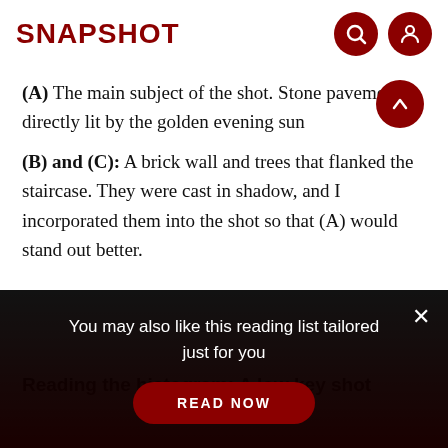SNAPSHOT
(A) The main subject of the shot. Stone pavement directly lit by the golden evening sun
(B) and (C): A brick wall and trees that flanked the staircase. They were cast in shadow, and I incorporated them into the shot so that (A) would stand out better.
Reading the histogram: A low key shot
You may also like this reading list tailored just for you
READ NOW